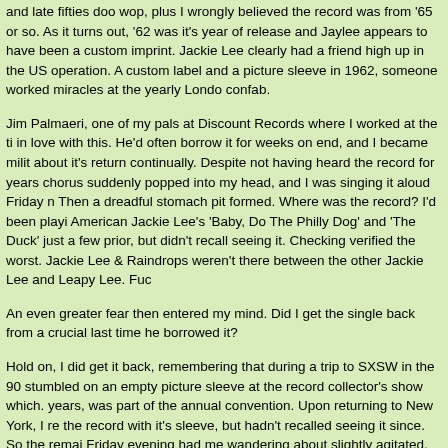and late fifties doo wop, plus I wrongly believed the record was from '65 or so. As turns out, '62 was it's year of release and Jaylee appears to have been a custom imprint. Jackie Lee clearly had a friend high up in the US operation. A custom label and a picture sleeve in 1962, someone worked miracles at the yearly London confab.
Jim Palmaeri, one of my pals at Discount Records where I worked at the time, fell in love with this. He'd often borrow it for weeks on end, and I became militant about it's return continually. Despite not having heard the record for years, the chorus suddenly popped into my head, and I was singing it aloud Friday morning. Then a dreadful stomach pit formed. Where was the record? I'd been playing American Jackie Lee's 'Baby, Do The Philly Dog' and 'The Duck' just a few months prior, but didn't recall seeing it. Checking verified the worst. Jackie Lee & The Raindrops weren't there between the other Jackie Lee and Leapy Lee. Fuc...
An even greater fear then entered my mind. Did I get the single back from a crucial last time he borrowed it?
Hold on, I did get it back, remembering that during a trip to SXSW in the 90s I stumbled on an empty picture sleeve at the record collector's show which, for years, was part of the annual convention. Upon returning to New York, I reunited the record with it's sleeve, but hadn't recalled seeing it since. So the remaining Friday evening had me wandering about slightly agitated.
Saturday morning, returning home from some early junking with a few new...